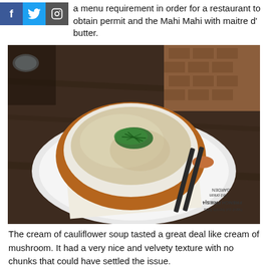a menu requirement in order for a restaurant to obtain permit and the Mahi Mahi with maitre d' butter.
[Figure (photo): A bowl of cream of cauliflower soup garnished with chopped chives, served on a white plate with chopsticks, placed on a wooden table with a menu visible underneath.]
The cream of cauliflower soup tasted a great deal like cream of mushroom. It had a very nice and velvety texture with no chunks that could have settled the issue.